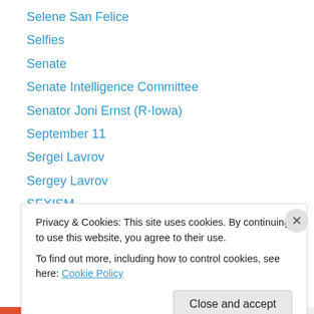Selene San Felice
Selfies
Senate
Senate Intelligence Committee
Senator Joni Ernst (R-Iowa)
September 11
Sergei Lavrov
Sergey Lavrov
SEXISM
Sgt. Bowe Bergdahl
Soccer
SOCIAL DISTANCING
SOLITARY CONFINEMENT
Privacy & Cookies: This site uses cookies. By continuing to use this website, you agree to their use.
To find out more, including how to control cookies, see here: Cookie Policy
Close and accept